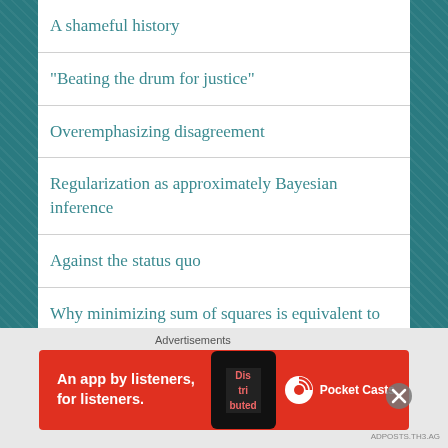A shameful history
"Beating the drum for justice"
Overemphasizing disagreement
Regularization as approximately Bayesian inference
Against the status quo
Why minimizing sum of squares is equivalent to frequentist inference
History is Lamarckian
Advertisements
[Figure (screenshot): Pocket Casts advertisement banner: red background with text 'An app by listeners, for listeners.' and Pocket Casts logo, with phone graphic showing 'Dis tri buted' text]